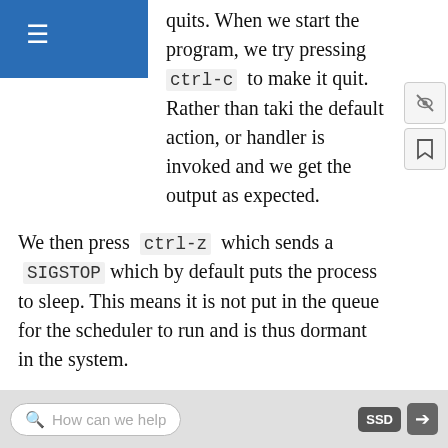quits. When we start the program, we try pressing ctrl-c to make it quit. Rather than taking the default action, or handler is invoked and we get the output as expected.
We then press ctrl-z which sends a SIGSTOP which by default puts the process to sleep. This means it is not put in the queue for the scheduler to run and is thus dormant in the system.
As an illustration, we use the kill program to send the same signal from another terminal window. This is actually implemented with the kill system call, which takes a signal and PID to send to (this function is a little misnamed because not all signals do actually kill the process, as we are seeing, but the signal function was already taken to register the handler). As
How can we help